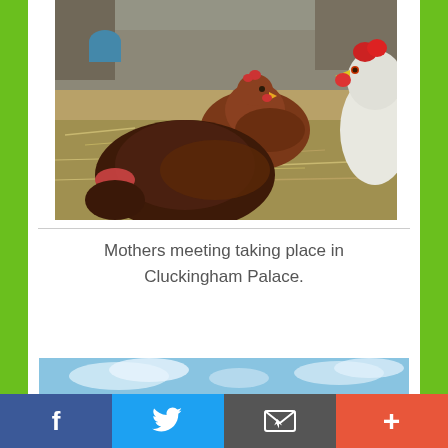[Figure (photo): Three brown/dark hens in a farmyard with straw on the ground. Two hens face each other in the background and one large hen is in the foreground. A white chicken is partially visible at right edge.]
Mothers meeting taking place in Cluckingham Palace.
[Figure (photo): Partial photo at bottom showing blue sky with clouds.]
Facebook | Twitter | Email | More (social share bar)